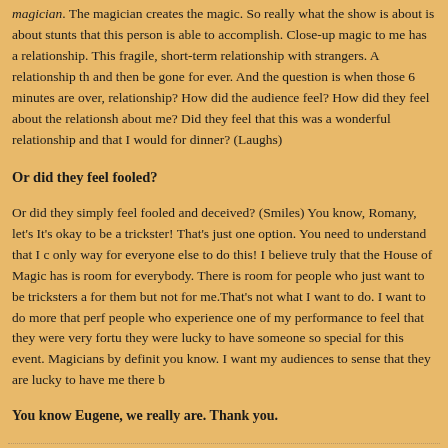magician. The magician creates the magic. So really what the show is about is about stunts that this person is able to accomplish. Close-up magic to me has a relationship. This fragile, short-term relationship with strangers. A relationship that and then be gone for ever. And the question is when those 6 minutes are over, relationship? How did the audience feel? How did they feel about the relationship about me? Did they feel that this was a wonderful relationship and that I would for dinner? (Laughs)
Or did they feel fooled?
Or did they simply feel fooled and deceived? (Smiles) You know, Romany, let's It's okay to be a trickster! That's just one option. You need to understand that I only way for everyone else to do this! I believe truly that the House of Magic has is room for everybody. There is room for people who just want to be tricksters a for them but not for me.That's not what I want to do. I want to do more that perf people who experience one of my performance to feel that they were very fortu they were lucky to have someone so special for this event. Magicians by definit you know. I want my audiences to sense that they are lucky to have me there b
You know Eugene, we really are. Thank you.